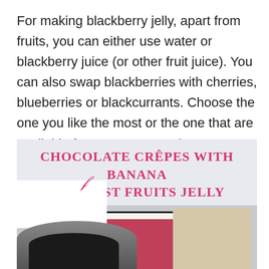For making blackberry jelly, apart from fruits, you can either use water or blackberry juice (or other fruit juice). You can also swap blackberries with cherries, blueberries or blackcurrants. Choose the one you like the most or the one that are available for you. You can also use frozen fruits if you don't have fresh on hand.
[Figure (photo): Promotional food photo with light blue-grey background showing a white enamel mug filled with red/pink jelly or jam, and a beige paper bag with dark contents, along with a partial view of a dark crepe pan or plate at the bottom. Overlaid title text reads 'CHOCOLATE CRÊPES WITH BANANA & FOREST FRUITS JELLY' in pink serif all-caps lettering.]